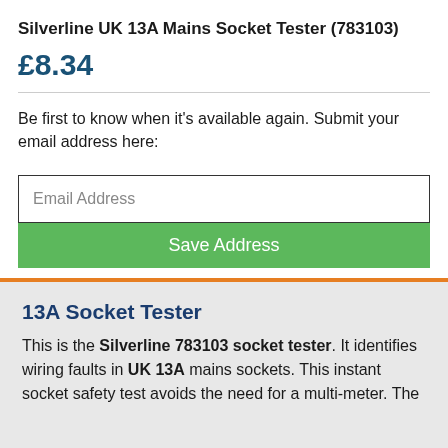Silverline UK 13A Mains Socket Tester (783103)
£8.34
Be first to know when it's available again. Submit your email address here:
Email Address
Save Address
13A Socket Tester
This is the Silverline 783103 socket tester. It identifies wiring faults in UK 13A mains sockets. This instant socket safety test avoids the need for a multi-meter. The